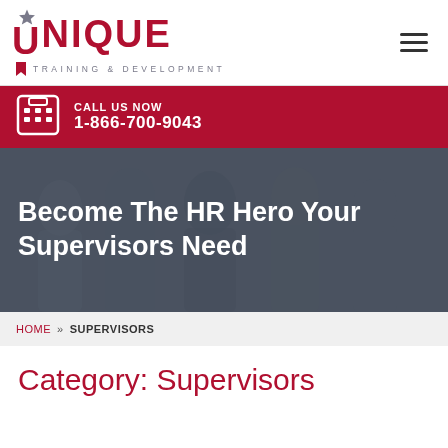[Figure (logo): Unique Training & Development logo with red star above U, red bold UNIQUE text, grey tagline TRAINING & DEVELOPMENT]
CALL US NOW
1-866-700-9043
[Figure (photo): Background photo of people/supervisors in a workplace setting, overlaid with dark grey tint]
Become The HR Hero Your Supervisors Need
HOME » SUPERVISORS
Category: Supervisors